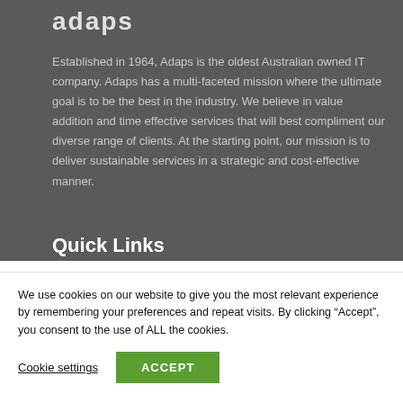[Figure (logo): Adaps company logo in light grey text on dark grey background]
Established in 1964, Adaps is the oldest Australian owned IT company. Adaps has a multi-faceted mission where the ultimate goal is to be the best in the industry. We believe in value addition and time effective services that will best compliment our diverse range of clients. At the starting point, our mission is to deliver sustainable services in a strategic and cost-effective manner.
Quick Links
We use cookies on our website to give you the most relevant experience by remembering your preferences and repeat visits. By clicking “Accept”, you consent to the use of ALL the cookies.
Cookie settings   ACCEPT